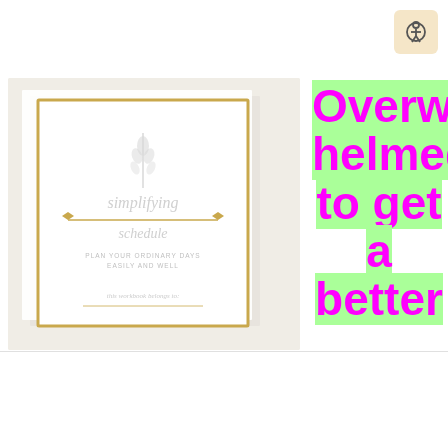[Figure (illustration): Accessibility button icon in top right corner with person/wheelchair symbol on beige background]
[Figure (photo): A white workbook/planner with gold border titled 'simplifying schedule' with text 'Plan Your Ordinary Days Easily and Well' on a light background]
Overwhelmed to get a better
[Figure (logo): McAlister's Deli logo - MCA in red box]
McAlister's® Online Ordering
McAlister's Deli